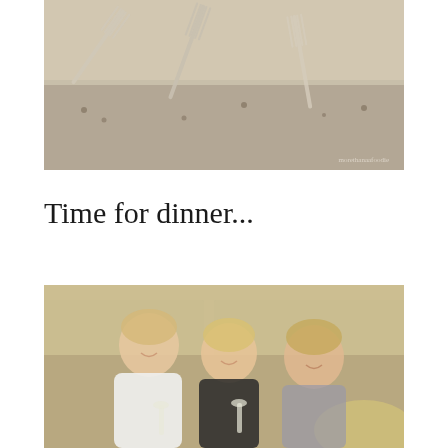[Figure (photo): Close-up photo of silverware/forks on a table setting, muted warm tones, with watermark text 'morethanaafoodie' in bottom right corner]
Time for dinner...
[Figure (photo): Photo of three smiling women holding wine glasses, standing together in a warmly lit room]